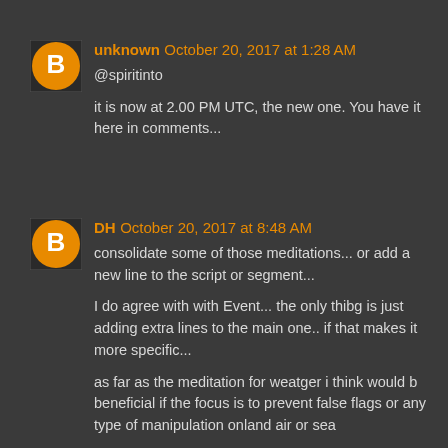unknown October 20, 2017 at 1:28 AM
@spiritinto

it is now at 2.00 PM UTC, the new one. You have it here in comments...
DH October 20, 2017 at 8:48 AM
consolidate some of those meditations... or add a new line to the script or segment...

I do agree with with Event... the only thibg is just adding extra lines to the main one.. if that makes it more specific...

as far as the meditation for weatger i think would b beneficial if the focus is to prevent false flags or any type of manipulation onland air or sea